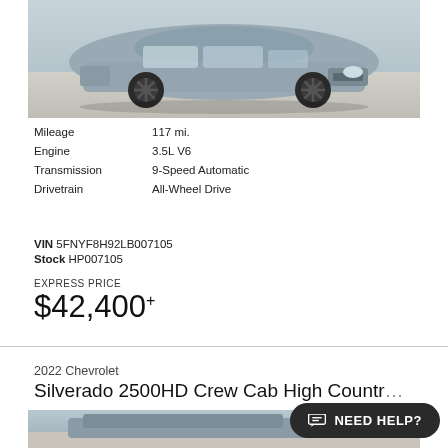[Figure (photo): Front quarter view of a silver SUV (Honda Passport or similar) photographed outdoors on a concrete surface]
Mileage	117 mi.
Engine	3.5L V6
Transmission	9-Speed Automatic
Drivetrain	All-Wheel Drive
VIN 5FNYF8H92LB007105
Stock HP007105
EXPRESS PRICE
$42,400+
2022 Chevrolet
Silverado 2500HD Crew Cab High Country
[Figure (photo): Partial view of a 2022 Chevrolet Silverado 2500HD, bottom of photo cut off]